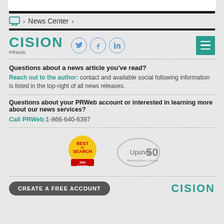News Center
[Figure (logo): Cision PRWeb logo with social media icons (Twitter, Facebook, LinkedIn) and hamburger menu button]
Questions about a news article you've read?
Reach out to the author: contact and available social following information is listed in the top-right of all news releases.
Questions about your PRWeb account or interested in learning more about our news services?
Call PRWeb: 1-866-640-6397
[Figure (logo): Best in Search award badge and Upshot 50 award badge]
CREATE A FREE ACCOUNT
[Figure (logo): Cision logo at bottom]